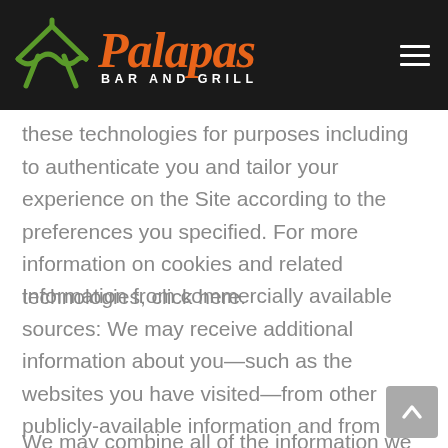[Figure (logo): Palapas Bar and Grill logo with green palapa/tent icon and orange italic text, on dark background with hamburger menu icon]
these technologies for purposes including to authenticate you and tailor your experience on the Site according to the preferences you specified. For more information on cookies and related technologies, click here.
Information from commercially available sources: We may receive additional information about you—such as the websites you have visited—from other publicly-available information and from commercial sources.
We may combine all of the information we